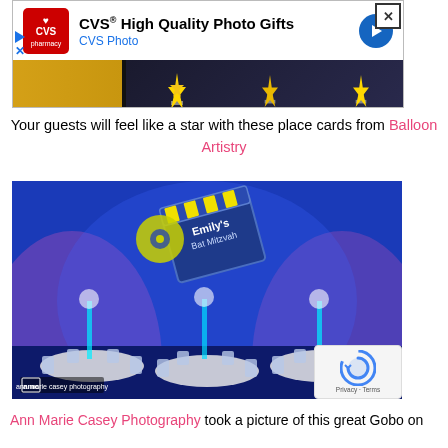[Figure (screenshot): CVS High Quality Photo Gifts advertisement banner with CVS Pharmacy logo, navigation arrow icon, and photo of Hollywood-themed award trophies with gold stars on dark background. Close button (X) in top right.]
Your guests will feel like a star with these place cards from Balloon Artistry
[Figure (photo): Event venue with blue and purple uplighting, round tables with white linens and silver chiavari chairs, tall floral/balloon centerpieces, and a large gobo projection on the wall reading 'Emily's Bat Mitzvah' with a movie clapperboard design. Ann Marie Casey Photography watermark in lower left corner.]
Ann Marie Casey Photography took a picture of this great Gobo on